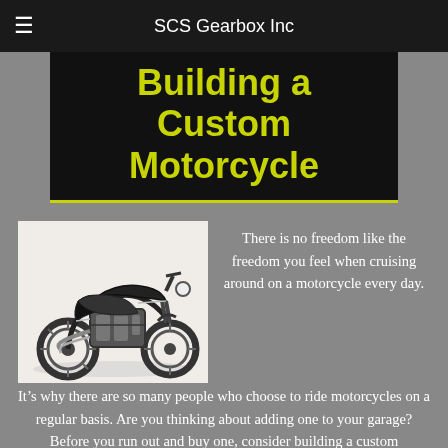SCS Gearbox Inc
Building a Custom Motorcycle
[Figure (photo): A custom black cruiser motorcycle with chrome engine details and large wheels, shown from the side on a white background.]
There is no freedom like the freedom you feel when cruising around on a motorcycle every day. It’s why there are so many people who choose to ride motorcycles on a regular basis. Are you thinking about adding one to your garage? Before you run out and buy one, consider building a custom motorcycle instead. Read more →